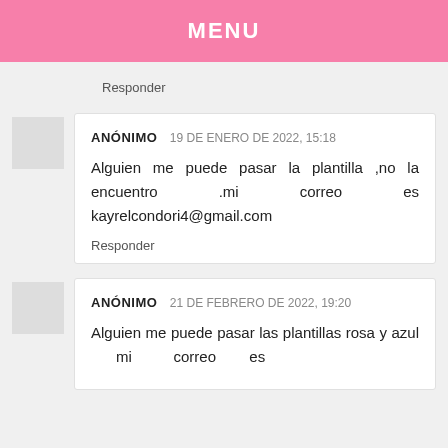MENU
Responder
ANÓNIMO 19 DE ENERO DE 2022, 15:18
Alguien me puede pasar la plantilla ,no la encuentro .mi correo es kayrelcondori4@gmail.com
Responder
ANÓNIMO 21 DE FEBRERO DE 2022, 19:20
Alguien me puede pasar las plantillas rosa y azul mi correo es